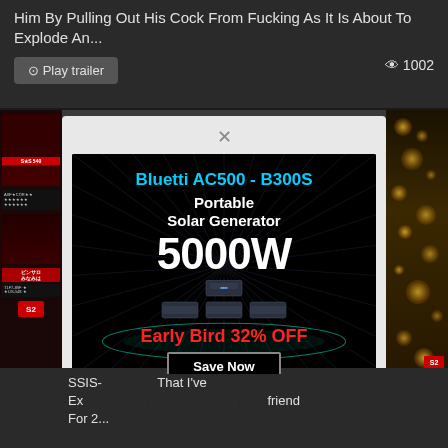Him By Pulling Out His Cock From Fucking As It Is About To Explode An...
⊙ Play trailer   👁 1002
[Figure (screenshot): Advertisement popup modal for Bluetti AC500 - B300S Portable Solar Generator 5000W with Early Bird 32% OFF and Save Now button, overlaid on a webpage with dark background]
SSIS-...That I've Ex...friend For 2...